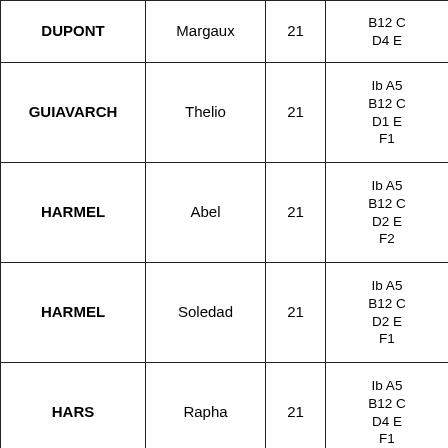| Last Name | First Name | Age | Codes |
| --- | --- | --- | --- |
| DUPONT | Margaux | 21 | B12 C
D4 E |
| GUIAVARCH | Thelio | 21 | Ib A5
B12 C
D1 E
F1 |
| HARMEL | Abel | 21 | Ib A5
B12 C
D2 E
F2 |
| HARMEL | Soledad | 21 | Ib A5
B12 C
D2 E
F1 |
| HARS | Rapha | 21 | Ib A5
B12 C
D4 E
F1 |
| HARS | Timothee | 21 | Ib A5
B12 C
D4 E
F2 |
|  |  |  | Ib A5
B12 C |